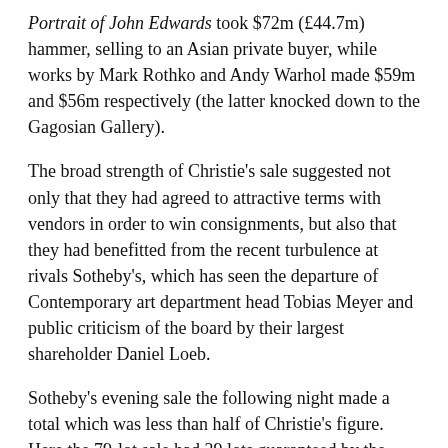Portrait of John Edwards took $72m (£44.7m) hammer, selling to an Asian private buyer, while works by Mark Rothko and Andy Warhol made $59m and $56m respectively (the latter knocked down to the Gagosian Gallery).
The broad strength of Christie's sale suggested not only that they had agreed to attractive terms with vendors in order to win consignments, but also that they had benefitted from the recent turbulence at rivals Sotheby's, which has seen the departure of Contemporary art department head Tobias Meyer and public criticism of the board by their largest shareholder Daniel Loeb.
Sotheby's evening sale the following night made a total which was less than half of Christie's figure. Here the 79-lot sale had 39 lots guaranteed by the auctioneers and third parties.